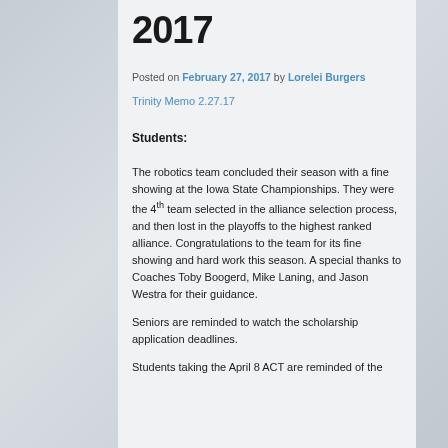2017
Posted on February 27, 2017 by Lorelei Burgers
Trinity Memo 2.27.17
Students:
The robotics team concluded their season with a fine showing at the Iowa State Championships.  They were the 4th team selected in the alliance selection process, and then lost in the playoffs to the highest ranked alliance.  Congratulations to the team for its fine showing and hard work this season.  A special thanks to Coaches Toby Boogerd, Mike Laning, and Jason Westra for their guidance.
Seniors are reminded to watch the scholarship application deadlines.
Students taking the April 8 ACT are reminded of the